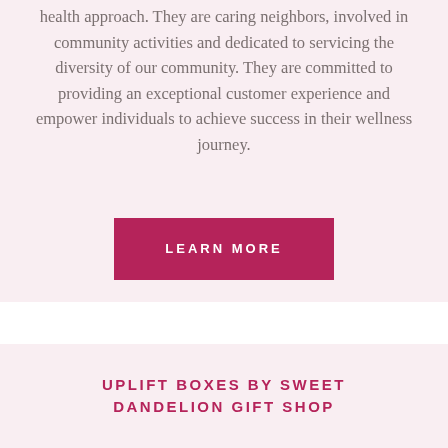health approach. They are caring neighbors, involved in community activities and dedicated to servicing the diversity of our community. They are committed to providing an exceptional customer experience and empower individuals to achieve success in their wellness journey.
LEARN MORE
UPLIFT BOXES BY SWEET DANDELION GIFT SHOP